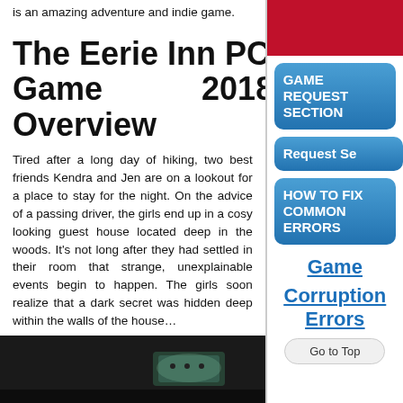is an amazing adventure and indie game.
The Eerie Inn PC Game 2018 Overview
Tired after a long day of hiking, two best friends Kendra and Jen are on a lookout for a place to stay for the night. On the advice of a passing driver, the girls end up in a cosy looking guest house located deep in the woods. It’s not long after they had settled in their room that strange, unexplainable events begin to happen. The girls soon realize that a dark secret was hidden deep within the walls of the house…
[Figure (screenshot): Dark screenshot of a room with a glowing ceiling light fixture]
[Figure (illustration): Red banner at top right]
GAME REQUEST SECTION
Request Se
HOW TO FIX COMMON ERRORS
Game
Corruption Errors
Go to Top